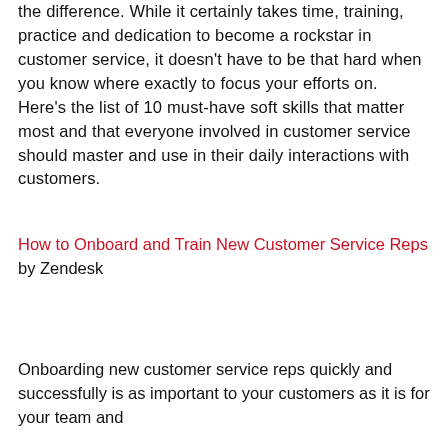the difference. While it certainly takes time, training, practice and dedication to become a rockstar in customer service, it doesn't have to be that hard when you know where exactly to focus your efforts on. Here's the list of 10 must-have soft skills that matter most and that everyone involved in customer service should master and use in their daily interactions with customers.
How to Onboard and Train New Customer Service Reps by Zendesk
Onboarding new customer service reps quickly and successfully is as important to your customers as it is for your team and